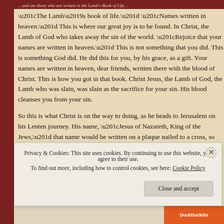...and are those who are written in the Lamb's Book of Life...
“The Lamb’s book of life.” “Names written in heaven.” This is where our great joy is to be found. In Christ, the Lamb of God who takes away the sin of the world. “Rejoice that your names are written in heaven.” This is not something that you did. This is something God did. He did this for you, by his grace, as a gift. Your names are written in heaven, dear friends, written there with the blood of Christ. This is how you got in that book. Christ Jesus, the Lamb of God, the Lamb who was slain, was slain as the sacrifice for your sin. His blood cleanses you from your sin.
So this is what Christ is on the way to doing, as he heads to Jerusalem on his Lenten journey. His name, “Jesus of Nazareth, King of the Jews,” that name would be written on a plaque nailed to a cross, so that you could have your name written in the Lamb’s book of life.
Privacy & Cookies: This site uses cookies. By continuing to use this website, you agree to their use.
To find out more, including how to control cookies, see here: Cookie Policy
Close and accept